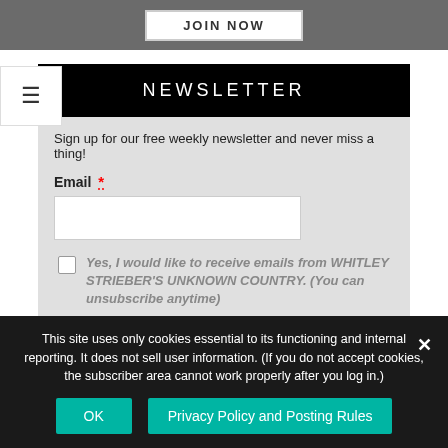[Figure (screenshot): JOIN NOW button on a grey bar at top of page]
NEWSLETTER
Sign up for our free weekly newsletter and never miss a thing!
Email *
Yes, I would like to receive emails from WHITLEY STRIEBER'S UNKNOWN COUNTRY. (You can unsubscribe anytime)
This site uses only cookies essential to its functioning and internal reporting. It does not sell user information. (If you do not accept cookies, the subscriber area cannot work properly after you log in.)
OK
Privacy Policy and Posting Rules